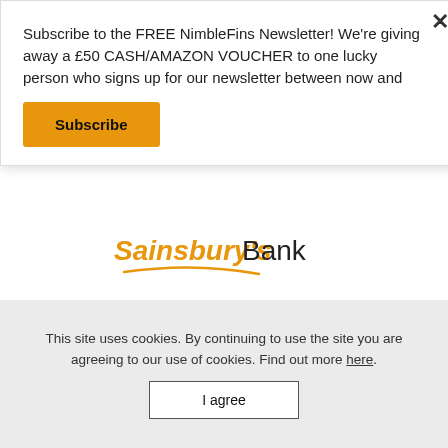Subscribe to the FREE NimbleFins Newsletter! We're giving away a £50 CASH/AMAZON VOUCHER to one lucky person who signs up for our newsletter between now and
Subscribe
Features You Need?
[Figure (logo): Sainsbury's Bank logo with orange text and orange swoosh underline]
This site uses cookies. By continuing to use the site you are agreeing to our use of cookies. Find out more here.
I agree